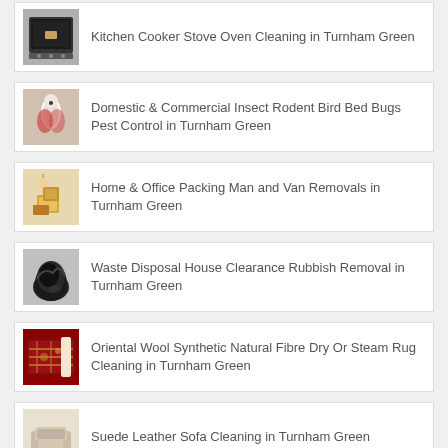Kitchen Cooker Stove Oven Cleaning in Turnham Green
Domestic & Commercial Insect Rodent Bird Bed Bugs Pest Control in Turnham Green
Home & Office Packing Man and Van Removals in Turnham Green
Waste Disposal House Clearance Rubbish Removal in Turnham Green
Oriental Wool Synthetic Natural Fibre Dry Or Steam Rug Cleaning in Turnham Green
Suede Leather Sofa Cleaning in Turnham Green
Sofa Chair Seat Furniture Upholstery Cleaning in Turnham Green